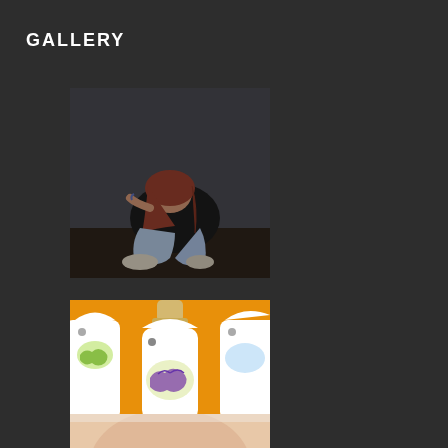GALLERY
[Figure (photo): Photo of a person sitting on the floor with knees drawn up and head buried in hands, appearing distressed, against a dark background.]
[Figure (illustration): Illustration on orange background showing white bottle-shaped figures with human profile heads, the central one has a brain visible inside, suggesting alcohol and mental health themes.]
[Figure (photo): Partially visible photo at bottom of page, appears to show a person's face.]